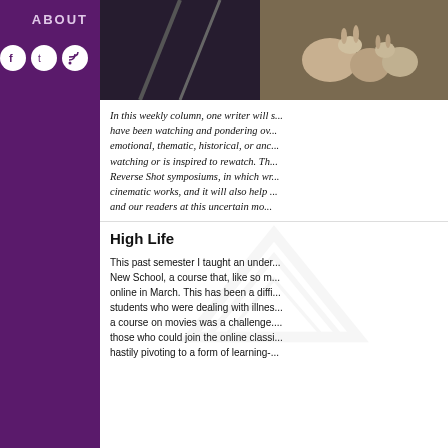ABOUT
[Figure (logo): Social media icons: Facebook, Twitter, RSS feed in white circles on purple background]
[Figure (photo): Animated cartoon characters, appears to show deer and rabbits from an animated film]
In this weekly column, one writer will s... have been watching and pondering ov... emotional, thematic, historical, or anc... watching or is inspired to rewatch. Th... Reverse Shot symposiums, in which wr... cinematic works, and it will also help ... and our readers at this uncertain mo...
High Life
This past semester I taught an under... New School, a course that, like so m... online in March. This has been a diffi... students who were dealing with illnes... a course on movies was a challenge.... those who could join the online classi... hastily pivoting to a form of learning-...